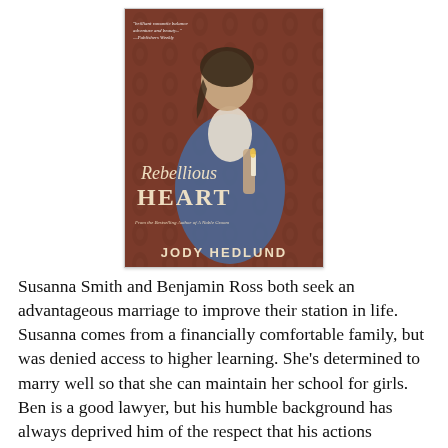[Figure (photo): Book cover of 'Rebellious Heart' by Jody Hedlund. Shows a historical woman in colonial-era blue and white dress holding a candle, with an ornate red/brown damask background. Title text reads 'Rebellious Heart' in cream/gold lettering. Author name 'JODY HEDLUND' at bottom. A blurb appears at top left.]
Susanna Smith and Benjamin Ross both seek an advantageous marriage to improve their station in life. Susanna comes from a financially comfortable family, but was denied access to higher learning. She's determined to marry well so that she can maintain her school for girls. Ben is a good lawyer, but his humble background has always deprived him of the respect that his actions merited. A wealthy wife would propel him into the world of the elite and open opportunities that would otherwise be closed. When Susanna helps a runaway slave, she finds herself turning to Ben for advice and protection. Yet, he is far from safe. Many Colonists resent the British and Ben's ideas seem almost